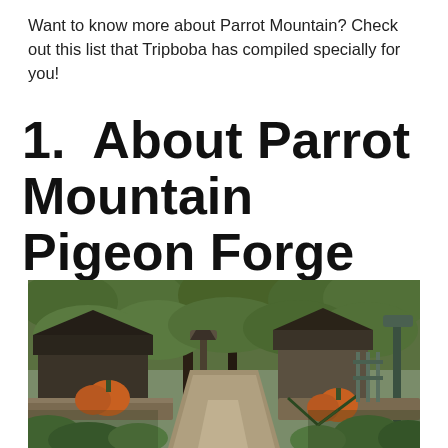Want to know more about Parrot Mountain? Check out this list that Tripboba has compiled specially for you!
1.  About Parrot Mountain Pigeon Forge
[Figure (photo): Outdoor garden path at Parrot Mountain, lined with lush green trees and tropical plants. Orange pumpkins decorate the stone-edged walkway. Rustic structures and ornate lampposts are visible in the background.]